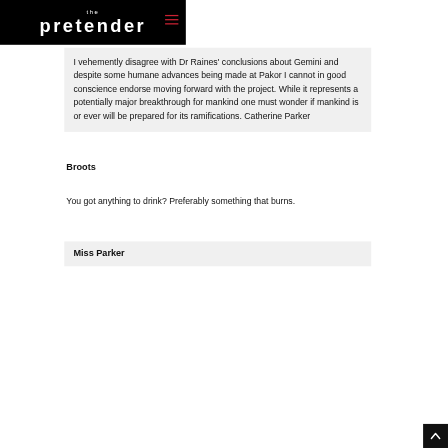the pretender
I vehemently disagree with Dr Raines' conclusions about Gemini and despite some humane advances being made at Pakor I cannot in good conscience endorse moving forward with the project. While it represents a potentially major breakthrough for mankind one must wonder if mankind is or ever will be prepared for its ramifications. Catherine Parker
Broots
You got anything to drink? Preferably something that burns.
Miss Parker